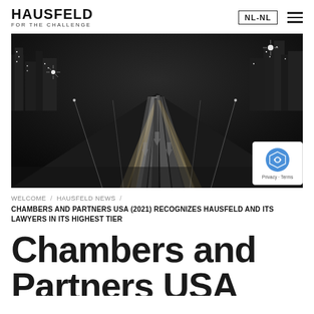HAUSFELD FOR THE CHALLENGE | NL-NL
[Figure (photo): Black and white long-exposure night photo of a multi-lane highway with light trails from vehicles, city skyline in the background]
WELCOME / HAUSFELD NEWS /
CHAMBERS AND PARTNERS USA (2021) RECOGNIZES HAUSFELD AND ITS LAWYERS IN ITS HIGHEST TIER
Chambers and Partners USA